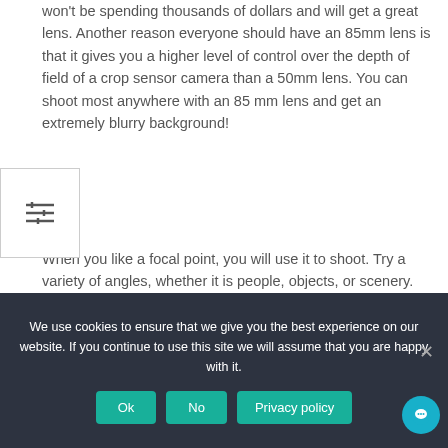won't be spending thousands of dollars and will get a great lens. Another reason everyone should have an 85mm lens is that it gives you a higher level of control over the depth of field of a crop sensor camera than a 50mm lens. You can shoot most anywhere with an 85 mm lens and get an extremely blurry background!
When you like a focal point, you will use it to shoot. Try a variety of angles, whether it is people, objects, or scenery. When you use your lens, you will have a feeling. Finally, there is a hint that an 85mm lens has a strong blur effect, the blur effect in the support of the backlight, which can further highlight the overall sense of dreaminess, so 85 shooting must not miss backlight shooting.
We use cookies to ensure that we give you the best experience on our website. If you continue to use this site we will assume that you are happy with it.